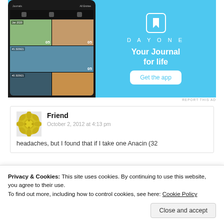[Figure (screenshot): DayOne app advertisement showing a smartphone with photo grid on a light blue background. Logo, 'Your Journal for life' tagline, and 'Get the app' button visible.]
REPORT THIS AD
Friend
October 2, 2012 at 4:13 pm
headaches, but I found that if I take one Anacin (32
Privacy & Cookies: This site uses cookies. By continuing to use this website, you agree to their use.
To find out more, including how to control cookies, see here: Cookie Policy
Close and accept